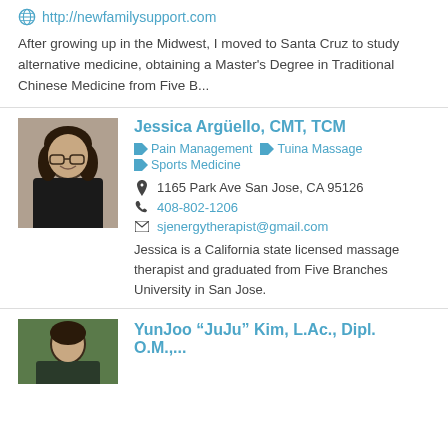http://newfamilysupport.com
After growing up in the Midwest, I moved to Santa Cruz to study alternative medicine, obtaining a Master's Degree in Traditional Chinese Medicine from Five B...
Jessica Argüello, CMT, TCM
Pain Management   Tuina Massage   Sports Medicine
1165 Park Ave San Jose, CA 95126
408-802-1206
sjenergytherapist@gmail.com
Jessica is a California state licensed massage therapist and graduated from Five Branches University in San Jose.
YunJoo "JuJu" Kim, L.Ac., Dipl. O.M.,...